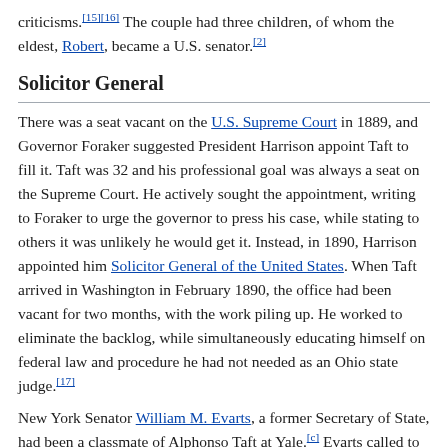criticisms.[15][16] The couple had three children, of whom the eldest, Robert, became a U.S. senator.[2]
Solicitor General
There was a seat vacant on the U.S. Supreme Court in 1889, and Governor Foraker suggested President Harrison appoint Taft to fill it. Taft was 32 and his professional goal was always a seat on the Supreme Court. He actively sought the appointment, writing to Foraker to urge the governor to press his case, while stating to others it was unlikely he would get it. Instead, in 1890, Harrison appointed him Solicitor General of the United States. When Taft arrived in Washington in February 1890, the office had been vacant for two months, with the work piling up. He worked to eliminate the backlog, while simultaneously educating himself on federal law and procedure he had not needed as an Ohio state judge.[17]
New York Senator William M. Evarts, a former Secretary of State, had been a classmate of Alphonso Taft at Yale.[c] Evarts called to see his friend's son as soon as Taft took office, and William and Nellie Taft were launched into Washington society. Nellie Taft was ambitious for herself and her husband, and was annoyed when the people he socialized with most were mainly Supreme Court justices, rather than the arbiters of Washington society such as